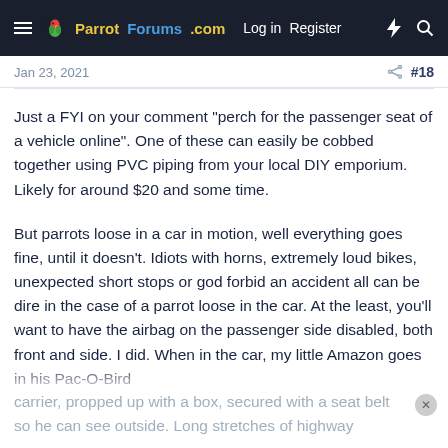ParrotForums.com  Log in  Register
Jan 23, 2021  #18
Just a FYI on your comment "perch for the passenger seat of a vehicle online". One of these can easily be cobbed together using PVC piping from your local DIY emporium. Likely for around $20 and some time.
But parrots loose in a car in motion, well everything goes fine, until it doesn't. Idiots with horns, extremely loud bikes, unexpected short stops or god forbid an accident all can be dire in the case of a parrot loose in the car. At the least, you'll want to have the airbag on the passenger side disabled, both front and side. I did. When in the car, my little Amazon goes in his Pac-O-Bird carrier, propped up with a box, secured with a seat belt so he can see outside. Long stretches of highway